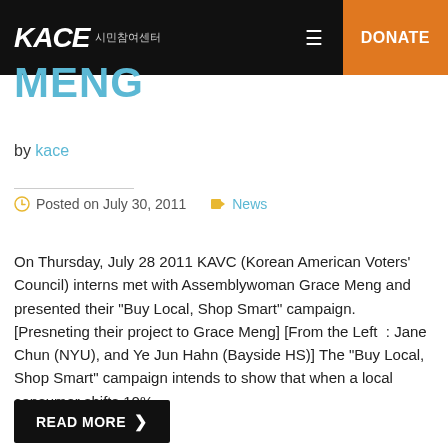KACE 시민참여센터  ≡  DONATE
MENG
by kace
Posted on July 30, 2011  News
On Thursday, July 28 2011 KAVC (Korean American Voters' Council) interns met with Assemblywoman Grace Meng and presented their "Buy Local, Shop Smart" campaign. [Presneting their project to Grace Meng] [From the Left  : Jane Chun (NYU), and Ye Jun Hahn (Bayside HS)] The "Buy Local, Shop Smart" campaign intends to show that when a local consumer shifts 10%…
READ MORE ❯